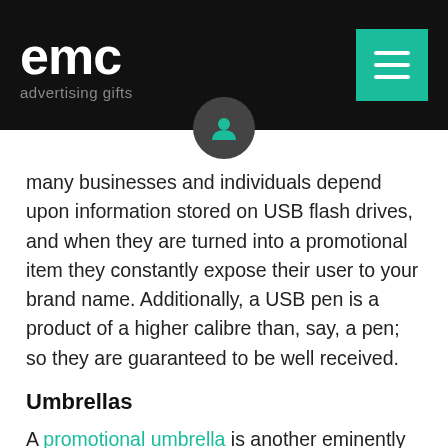[Figure (logo): EMC advertising gifts logo in white text on black background, with a hamburger menu button in teal/green on the right]
[Figure (illustration): Circular avatar/profile icon in dark grey circle, overlapping the header and content area]
many businesses and individuals depend upon information stored on USB flash drives, and when they are turned into a promotional item they constantly expose their user to your brand name. Additionally, a USB pen is a product of a higher calibre than, say, a pen; so they are guaranteed to be well received.
Umbrellas
A promotional umbrella is another eminently functional product; especially when you live in the UK. With winter shortly upon us, there will undoubtedly be numerous occasions when an umbrella would prove useful. The fantastic thing about a promotional